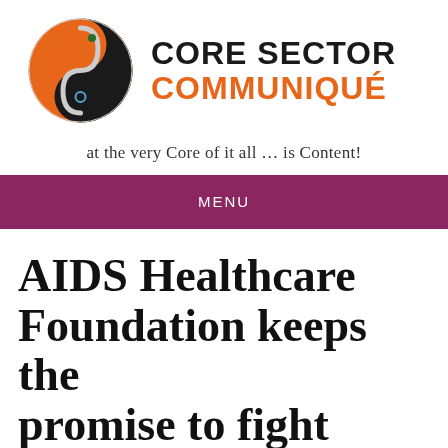[Figure (logo): Core Sector Communiqué logo: yin-yang style circle with orange and dark sections, with a stylized S-curve shape inside]
CORE SECTOR COMMUNIQUÉ
at the very Core of it all … is Content!
MENU
AIDS Healthcare Foundation keeps the promise to fight against HIV/AIDS on